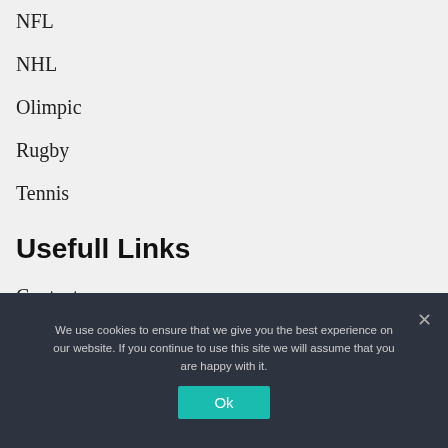NFL
NHL
Olimpic
Rugby
Tennis
Usefull Links
Contact us
About us
We use cookies to ensure that we give you the best experience on our website. If you continue to use this site we will assume that you are happy with it.